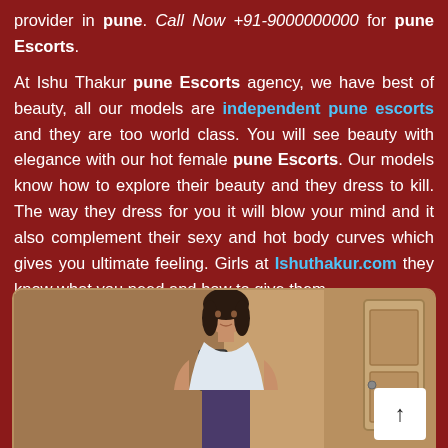provider in pune. Call Now +91-9000000000 for pune Escorts. At Ishu Thakur pune Escorts agency, we have best of beauty, all our models are independent pune escorts and they are too world class. You will see beauty with elegance with our hot female pune Escorts. Our models know how to explore their beauty and they dress to kill. The way they dress for you it will blow your mind and it also complement their sexy and hot body curves which gives you ultimate feeling. Girls at Ishuthakur.com they know what you need and how to give them.
[Figure (photo): Photo of a young woman with dark hair in an indoor setting, with a scroll-to-top button in the bottom right corner]